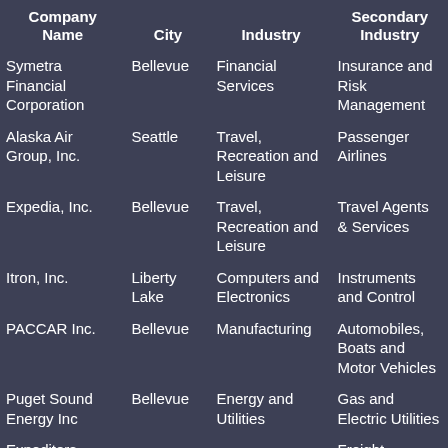| Company Name | City | Industry | Secondary Industry |
| --- | --- | --- | --- |
| Symetra Financial Corporation | Bellevue | Financial Services | Insurance and Risk Management |
| Alaska Air Group, Inc. | Seattle | Travel, Recreation and Leisure | Passenger Airlines |
| Expedia, Inc. | Bellevue | Travel, Recreation and Leisure | Travel Agents & Services |
| Itron, Inc. | Liberty Lake | Computers and Electronics | Instruments and Control |
| PACCAR Inc. | Bellevue | Manufacturing | Automobiles, Boats and Motor Vehicles |
| Puget Sound Energy Inc | Bellevue | Energy and Utilities | Gas and Electric Utilities |
| Expeditors International |  |  | Freight |